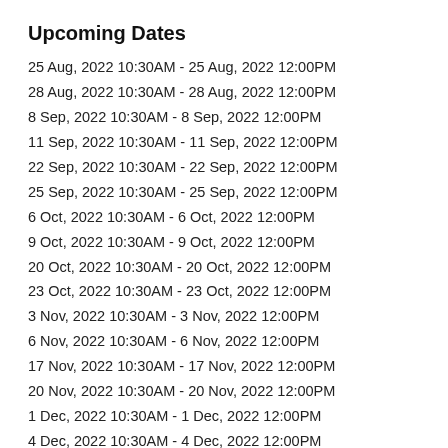Upcoming Dates
25 Aug, 2022 10:30AM - 25 Aug, 2022 12:00PM
28 Aug, 2022 10:30AM - 28 Aug, 2022 12:00PM
8 Sep, 2022 10:30AM - 8 Sep, 2022 12:00PM
11 Sep, 2022 10:30AM - 11 Sep, 2022 12:00PM
22 Sep, 2022 10:30AM - 22 Sep, 2022 12:00PM
25 Sep, 2022 10:30AM - 25 Sep, 2022 12:00PM
6 Oct, 2022 10:30AM - 6 Oct, 2022 12:00PM
9 Oct, 2022 10:30AM - 9 Oct, 2022 12:00PM
20 Oct, 2022 10:30AM - 20 Oct, 2022 12:00PM
23 Oct, 2022 10:30AM - 23 Oct, 2022 12:00PM
3 Nov, 2022 10:30AM - 3 Nov, 2022 12:00PM
6 Nov, 2022 10:30AM - 6 Nov, 2022 12:00PM
17 Nov, 2022 10:30AM - 17 Nov, 2022 12:00PM
20 Nov, 2022 10:30AM - 20 Nov, 2022 12:00PM
1 Dec, 2022 10:30AM - 1 Dec, 2022 12:00PM
4 Dec, 2022 10:30AM - 4 Dec, 2022 12:00PM
15 Dec, 2022 10:30AM - 15 Dec, 2022 12:00PM
18 Dec, 2022 10:30AM - 18 Dec, 2022 12:00PM
29 Dec, 2022 10:30AM - 29 Dec, 2022 12:00PM
1 Jan, 2023 10:30AM - 1 Jan, 2023 12:00PM